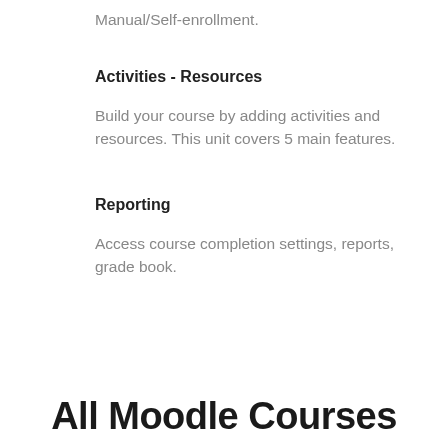Manual/Self-enrollment.
Activities - Resources
Build your course by adding activities and resources. This unit covers 5 main features.
Reporting
Access course completion settings, reports, grade book.
All Moodle Courses